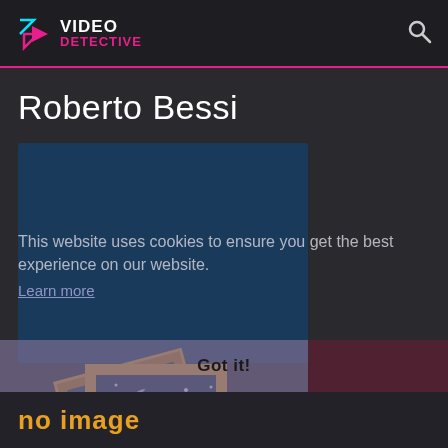VIDEO DETECTIVE
Roberto Bessi
[Figure (screenshot): Video Detective website screenshot showing Roberto Bessi page with a placeholder image card (no image), a cookie consent overlay stating 'This website uses cookies to ensure you get the best experience on our website. Learn more', a 'Got it!' button bar, and 'no image' text at the bottom.]
This website uses cookies to ensure you get the best experience on our website.
Learn more
Got it!
no image